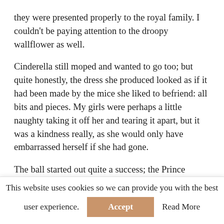they were presented properly to the royal family. I couldn't be paying attention to the droopy wallflower as well.
Cinderella still moped and wanted to go too; but quite honestly, the dress she produced looked as if it had been made by the mice she liked to befriend: all bits and pieces. My girls were perhaps a little naughty taking it off her and tearing it apart, but it was a kindness really, as she would only have embarrassed herself if she had gone.
The ball started out quite a success; the Prince danced with each of my girls, and although he was courteously
This website uses cookies so we can provide you with the best user experience.